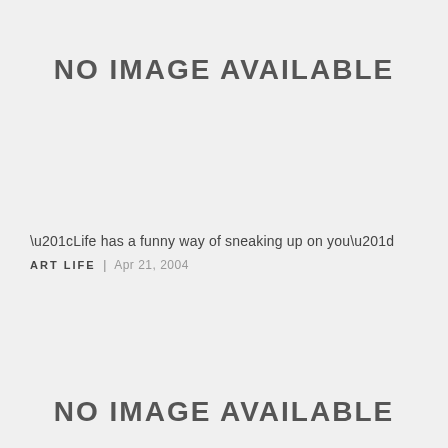NO IMAGE AVAILABLE
“Life has a funny way of sneaking up on you”
ART LIFE | Apr 21, 2004
NO IMAGE AVAILABLE